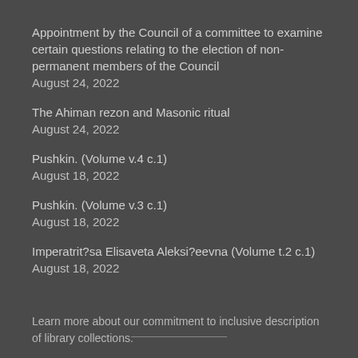Appointment by the Council of a committee to examine certain questions relating to the election of non-permanent members of the Council
August 24, 2022
The Ahiman rezon and Masonic ritual
August 24, 2022
Pushkin. (Volume v.4 c.1)
August 18, 2022
Pushkin. (Volume v.3 c.1)
August 18, 2022
Imperatrit?sa Elisaveta Aleksi?eevna (Volume t.2 c.1)
August 18, 2022
Learn more about our commitment to inclusive description of library collections.